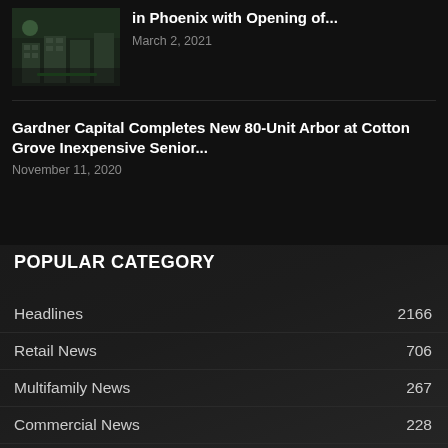in Phoenix with Opening of...
March 2, 2021
Gardner Capital Completes New 80-Unit Arbor at Cotton Grove Inexpensive Senior...
November 11, 2020
POPULAR CATEGORY
Headlines  2166
Retail News  706
Multifamily News  267
Commercial News  228
Industrial News  48
Net Lease  47
Residential news  35